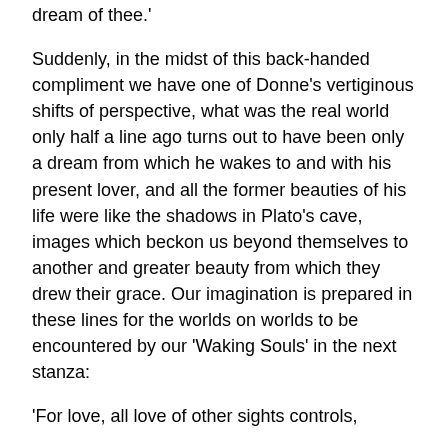dream of thee.'
Suddenly, in the midst of this back-handed compliment we have one of Donne's vertiginous shifts of perspective, what was the real world only half a line ago turns out to have been only a dream from which he wakes to and with his present lover, and all the former beauties of his life were like the shadows in Plato's cave, images which beckon us beyond themselves to another and greater beauty from which they drew their grace. Our imagination is prepared in these lines for the worlds on worlds to be encountered by our 'Waking Souls' in the next stanza:
'For love, all love of other sights controls,
And makes one little room, an every where.'
The power of making one little room an everywhere